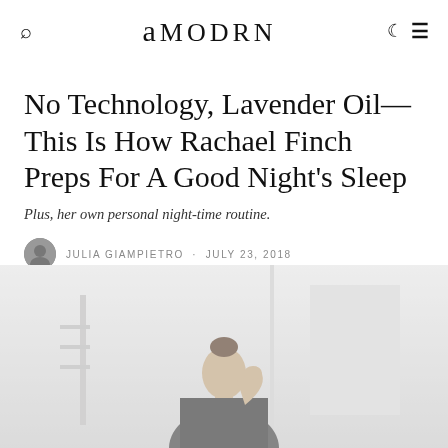amodrn
No Technology, Lavender Oil—This Is How Rachael Finch Preps For A Good Night's Sleep
Plus, her own personal night-time routine.
Julia Giampietro · July 23, 2018
[Figure (photo): A woman in a dark turtleneck standing in a softly lit room, touching her face, with furniture and shelving visible in the background. The image has a light, airy, slightly washed-out aesthetic.]